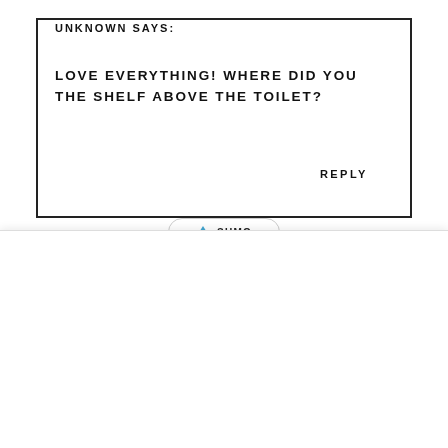UNKNOWN SAYS:
LOVE EVERYTHING! WHERE DID YOU THE SHELF ABOVE THE TOILET?
REPLY
[Figure (logo): SUMO logo with crown icon in a pill-shaped border]
×
DO YOU LOVE DIY AND THRIFTY DECORATING?
Signup today to get posts delivered right to your inbox!
Enter your email address
Subscribe Now